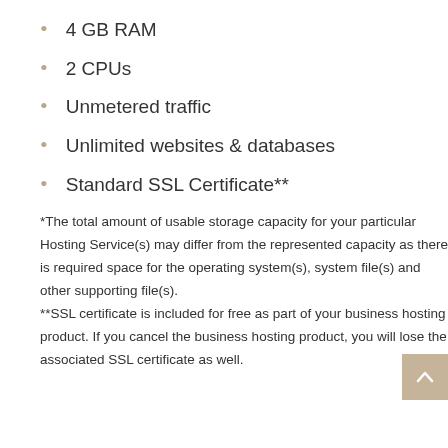4 GB RAM
2 CPUs
Unmetered traffic
Unlimited websites & databases
Standard SSL Certificate**
*The total amount of usable storage capacity for your particular Hosting Service(s) may differ from the represented capacity as there is required space for the operating system(s), system file(s) and other supporting file(s).
**SSL certificate is included for free as part of your business hosting product. If you cancel the business hosting product, you will lose the associated SSL certificate as well.